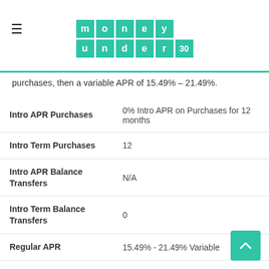money under 30
purchases, then a variable APR of 15.49% – 21.49%.
| Field | Value |
| --- | --- |
| Intro APR Purchases | 0% Intro APR on Purchases for 12 months |
| Intro Term Purchases | 12 |
| Intro APR Balance Transfers | N/A |
| Intro Term Balance Transfers | 0 |
| Regular APR | 15.49% - 21.49% Variable |